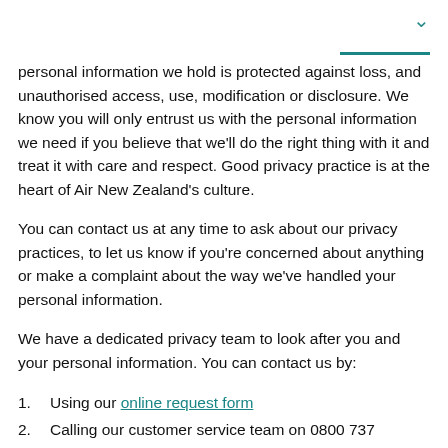personal information we hold is protected against loss, and unauthorised access, use, modification or disclosure. We know you will only entrust us with the personal information we need if you believe that we'll do the right thing with it and treat it with care and respect. Good privacy practice is at the heart of Air New Zealand's culture.
You can contact us at any time to ask about our privacy practices, to let us know if you're concerned about anything or make a complaint about the way we've handled your personal information.
We have a dedicated privacy team to look after you and your personal information. You can contact us by:
1. Using our online request form
2. Calling our customer service team on 0800 737